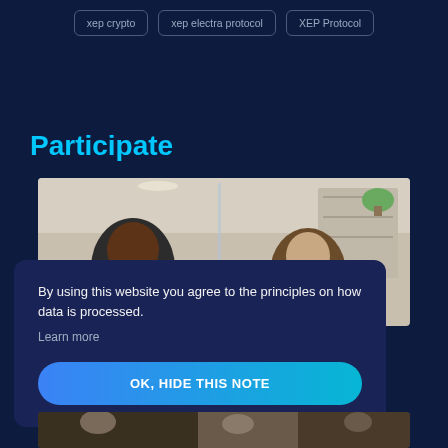xep crypto
xep electra protocol
XEP Protocol
Participate
[Figure (photo): Office photo with two people visible — a woman with dark hair on the left and a man with brown hair on the right, in a modern office setting with shelving and plants.]
By using this website you agree to the principles on how data is processed.
Learn more
OK, HIDE THIS NOTE
[Figure (photo): Partial view of people working at a desk, bottom of page.]